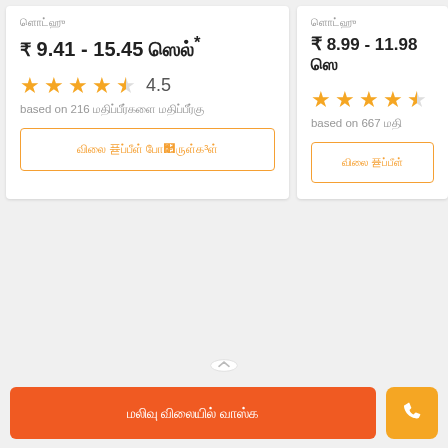₹ 9.41 - 15.45 செல்*
4.5
based on 216 மதிப்பீடுகளை மதிப்பீடு
விலை ஒப்பீடு பாருங்கள்
₹ 8.99 - 11.98 செல்
based on 667 மதிப்பீடு
விலை ஒப்பீடு
மலிவு விலையில் வாங்க
[Figure (screenshot): Phone call icon button in orange]